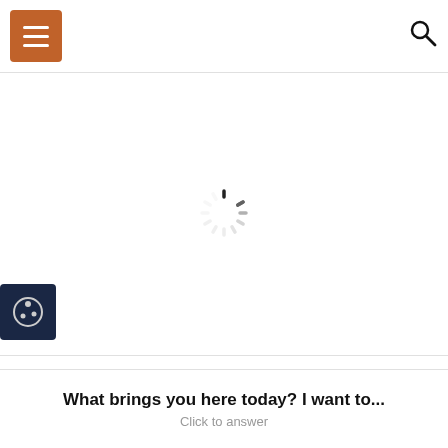[Figure (screenshot): Website header with orange hamburger menu button on left and search icon on right]
[Figure (other): Loading spinner (circular dashed spinner icon) centered in white content area]
We use cookies on our website to give you the most relevant experience by remembering your preferences and repeat visits. By clicking "Accept All", you consent to the use of ALL the cookies. However, you may visit "Cookie Settings" to provide a controlled consent.
What brings you here today? I want to...
Click to answer